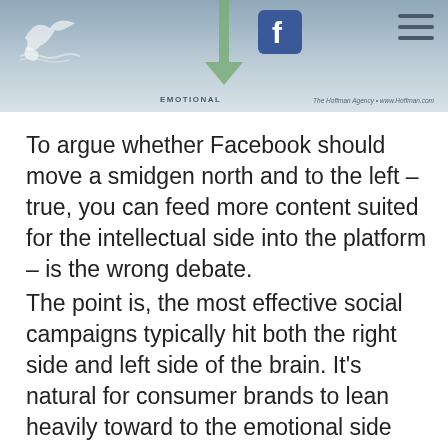[Figure (other): Cropped bottom portion of an infographic/diagram showing a downward arrow labeled 'EMOTIONAL' with a Facebook icon and whale logo, from The Hoffman Agency]
To argue whether Facebook should move a smidgen north and to the left – true, you can feed more content suited for the intellectual side into the platform – is the wrong debate.
The point is, the most effective social campaigns typically hit both the right side and left side of the brain. It's natural for consumer brands to lean heavily toward to the emotional side and for B2B companies to favor the intellectual side.